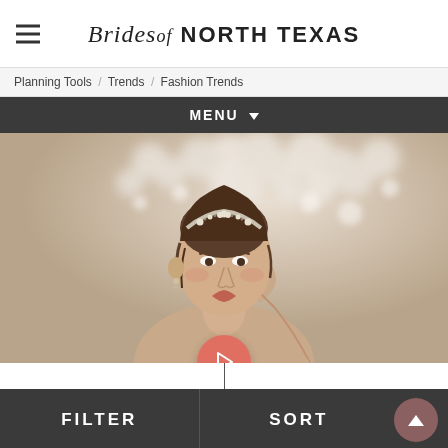Brides of North Texas
Planning Tools / Trends / Fashion Trends
MENU ▾
[Figure (photo): A young woman wearing a crystal tiara/headband, posed elegantly against a blurred chandelier background, touching her ear.]
FILTER   SORT